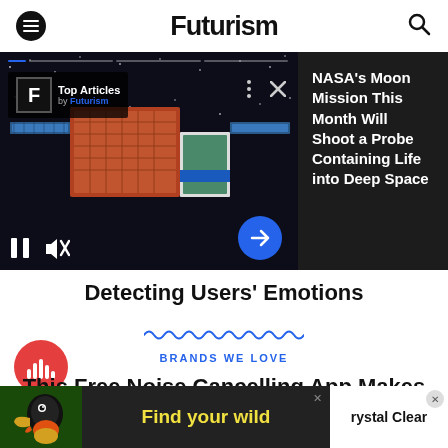Futurism
[Figure (screenshot): Video player banner showing a spacecraft in space with Top Articles by Futurism badge overlay, playback controls (pause, mute), and blue arrow button. Right side shows dark panel with article headline.]
NASA's Moon Mission This Month Will Shoot a Probe Containing Life into Deep Space
Detecting Users' Emotions
[Figure (illustration): Blue wavy/squiggly decorative divider line]
[Figure (logo): Red circular podcast icon with audio waveform bars]
BRANDS WE LOVE
This Free Noise Cancelling App Makes
[Figure (photo): Advertisement banner: toucan bird photo on left, 'Find your wild' text in yellow on dark background, 'Crystal Clear' text on white right panel with close button]